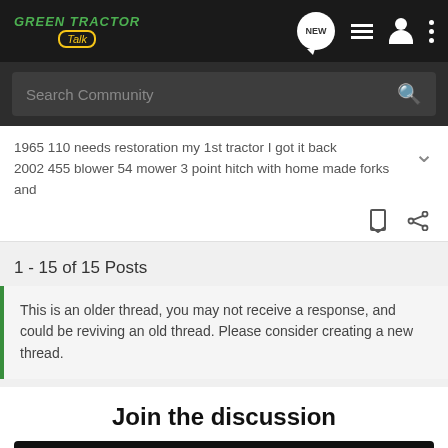[Figure (screenshot): Green Tractor Talk forum website header with logo, search bar, thread listing, posts count, old thread warning, and join discussion section with AG Daily ad banner]
Green Tractor Talk
Search Community
1965 110 needs restoration my 1st tractor I got it back
2002 455 blower 54 mower 3 point hitch with home made forks and
1 - 15 of 15 Posts
This is an older thread, you may not receive a response, and could be reviving an old thread. Please consider creating a new thread.
Join the discussion
[Figure (infographic): AG Daily NEW GROUND ad banner with Chevrolet sponsorship and Watch Now button]